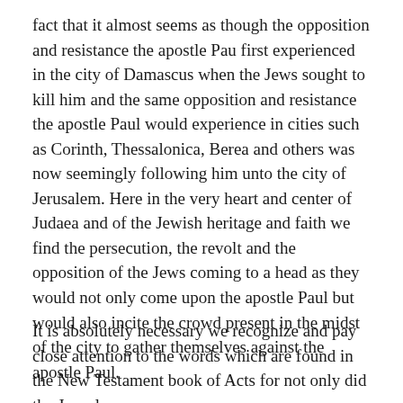fact that it almost seems as though the opposition and resistance the apostle Pau first experienced in the city of Damascus when the Jews sought to kill him and the same opposition and resistance the apostle Paul would experience in cities such as Corinth, Thessalonica, Berea and others was now seemingly following him unto the city of Jerusalem. Here in the very heart and center of Judaea and of the Jewish heritage and faith we find the persecution, the revolt and the opposition of the Jews coming to a head as they would not only come upon the apostle Paul but would also incite the crowd present in the midst of the city to gather themselves against the apostle Paul.
It is absolutely necessary we recognize and pay close attention to the words which are found in the New Testament book of Acts for not only did the Jews lay